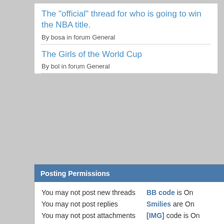The "official" thread for who is going to win the NBA title.
By bosa in forum General
The Girls of the World Cup
By bol in forum General
Posting Permissions
|  |  |
| --- | --- |
| You may not post new threads | BB code is On |
| You may not post replies | Smilies are On |
| You may not post attachments | [IMG] code is On |
| You may not edit your posts | [VIDEO] code is On |
|  | HTML code is Off |
|  | Forum Rules |